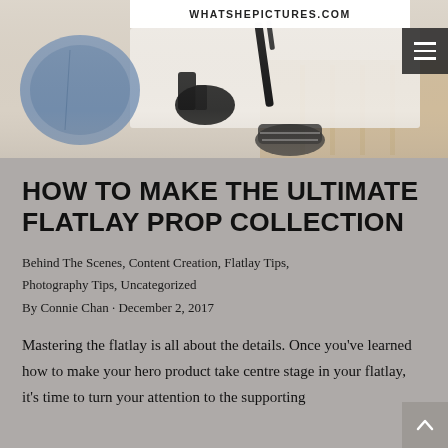WHATSHEPICTURES.COM
[Figure (photo): Flatlay photograph showing clothing items, boots, sneakers, and accessories arranged on a white and wood surface]
HOW TO MAKE THE ULTIMATE FLATLAY PROP COLLECTION
Behind The Scenes, Content Creation, Flatlay Tips, Photography Tips, Uncategorized
By Connie Chan · December 2, 2017
Mastering the flatlay is all about the details. Once you've learned how to make your hero product take centre stage in your flatlay, it's time to turn your attention to the supporting